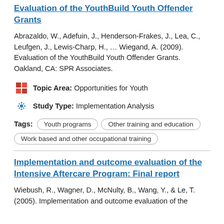Evaluation of the YouthBuild Youth Offender Grants
Abrazaldo, W., Adefuin, J., Henderson-Frakes, J., Lea, C., Leufgen, J., Lewis-Charp, H., … Wiegand, A. (2009). Evaluation of the YouthBuild Youth Offender Grants. Oakland, CA: SPR Associates.
Topic Area: Opportunities for Youth
Study Type: Implementation Analysis
Youth programs
Other training and education
Work based and other occupational training
Implementation and outcome evaluation of the Intensive Aftercare Program: Final report
Wiebush, R., Wagner, D., McNulty, B., Wang, Y., & Le, T. (2005). Implementation and outcome evaluation of the